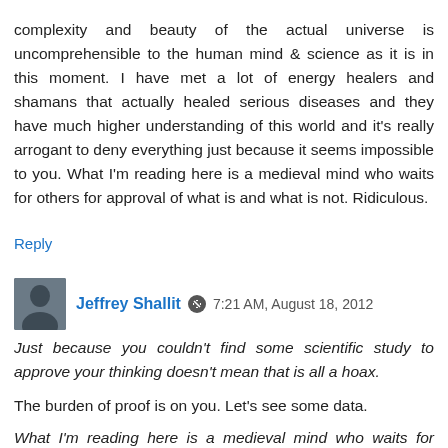complexity and beauty of the actual universe is uncomprehensible to the human mind & science as it is in this moment. I have met a lot of energy healers and shamans that actually healed serious diseases and they have much higher understanding of this world and it's really arrogant to deny everything just because it seems impossible to you. What I'm reading here is a medieval mind who waits for others for approval of what is and what is not. Ridiculous.
Reply
Jeffrey Shallit  7:21 AM, August 18, 2012
Just because you couldn't find some scientific study to approve your thinking doesn't mean that is all a hoax.
The burden of proof is on you. Let's see some data.
What I'm reading here is a medieval mind who waits for others for approval of what is and what is not.
Ok, ok...